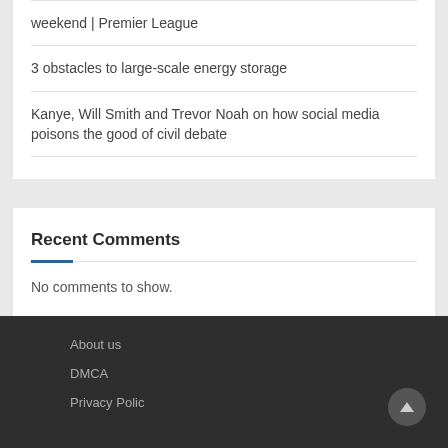weekend | Premier League
3 obstacles to large-scale energy storage
Kanye, Will Smith and Trevor Noah on how social media poisons the good of civil debate
Recent Comments
No comments to show.
About us
DMCA
Privacy Polic